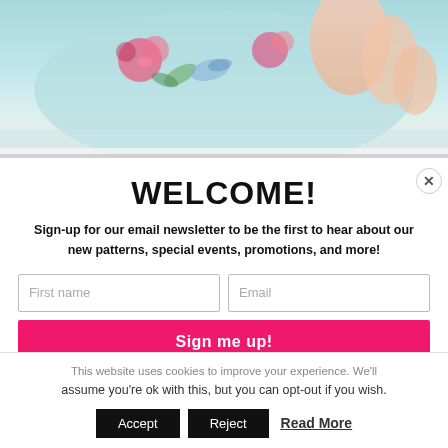[Figure (photo): Baby wearing a light blue floral dress lying on a white surface, partial view showing clothing and baby legs]
WELCOME!
Sign-up for our email newsletter to be the first to hear about our new patterns, special events, promotions, and more!
First name [input field] | Email [input field] | Sign me up! [button]
This website uses cookies to improve your experience. We'll assume you're ok with this, but you can opt-out if you wish.
Accept | Reject | Read More